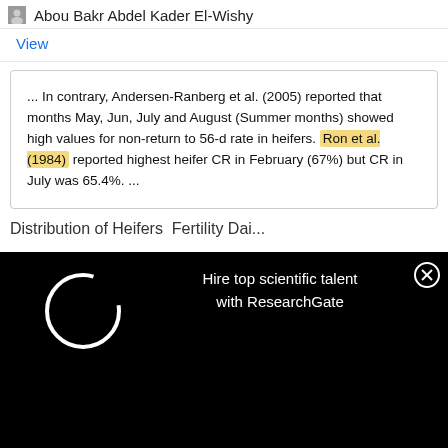Abou Bakr Abdel Kader El-Wishy
View
... In contrary, Andersen-Ranberg et al. (2005) reported that months May, Jun, July and August (Summer months) showed high values for non-return to 56-d rate in heifers. Ron et al. (1984) reported highest heifer CR in February (67%) but CR in July was 65.4%. ...
Distribution of Heifers Fertility Dai...
[Figure (screenshot): Dark overlay modal with loading spinner and text: Hire top scientific talent with ResearchGate, with a close (X) button]
[Figure (photo): Advertisement image with blue gradient background and infinity symbol logo for Applied Biosystems]
applied biosystems
Free T-Shirt anyone?